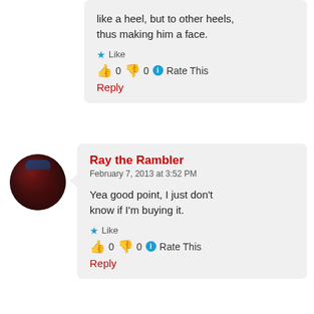like a heel, but to other heels, thus making him a face.
Like
👍 0 👎 0 ℹ Rate This
Reply
Ray the Rambler
February 7, 2013 at 3:52 PM
Yea good point, I just don't know if I'm buying it.
Like
👍 0 👎 0 ℹ Rate This
Reply